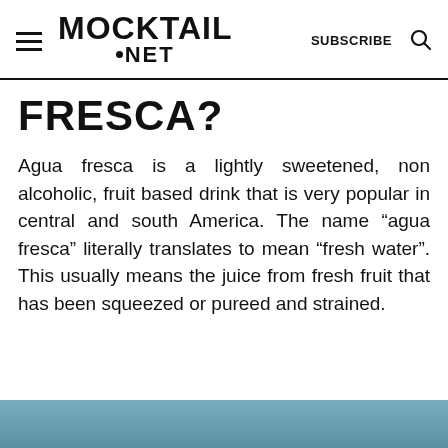MOCKTAIL .NET | SUBSCRIBE
FRESCA?
Agua fresca is a lightly sweetened, non alcoholic, fruit based drink that is very popular in central and south America. The name “agua fresca” literally translates to mean “fresh water”. This usually means the juice from fresh fruit that has been squeezed or pureed and strained.
[Figure (photo): Partial view of a blueish-tinted photo at the bottom of the page, likely showing a drink or fruit-based beverage]